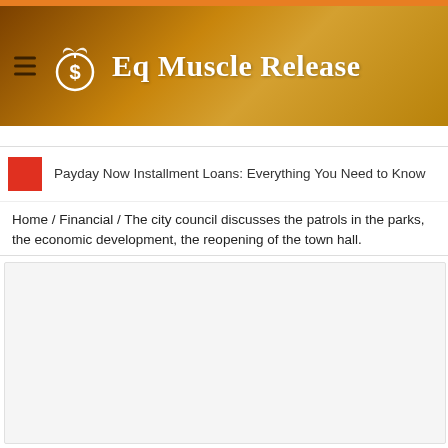Eq Muscle Release
Payday Now Installment Loans: Everything You Need to Know
Home / Financial / The city council discusses the patrols in the parks, the economic development, the reopening of the town hall.
[Figure (photo): Article featured image placeholder]
Arla Lacy   March 9, 2021   Financial   Comments Off
62 Views
Hutchinson city council learned on Tuesday that the city manager had targeted April 1 as the date to reopen city hall and that patrols in